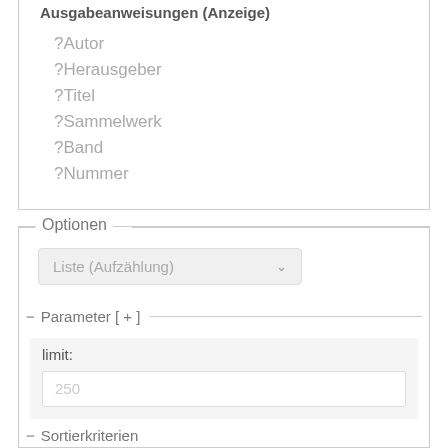Ausgabeanweisungen (Anzeige)
?Autor
?Herausgeber
?Titel
?Sammelwerk
?Band
?Nummer
Optionen
Liste (Aufzählung)
Parameter [ + ]
limit:
250
Sortierkriterien